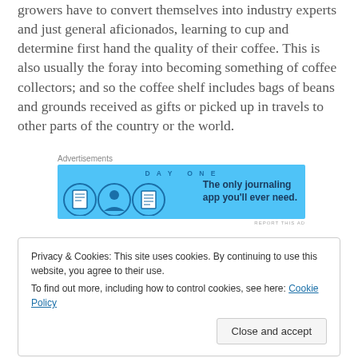growers have to convert themselves into industry experts and just general aficionados, learning to cup and determine first hand the quality of their coffee. This is also usually the foray into becoming something of coffee collectors; and so the coffee shelf includes bags of beans and grounds received as gifts or picked up in travels to other parts of the country or the world.
[Figure (screenshot): Advertisement banner for Day One journaling app with blue background, showing app icons and text 'The only journaling app you'll ever need.']
Privacy & Cookies: This site uses cookies. By continuing to use this website, you agree to their use.
To find out more, including how to control cookies, see here: Cookie Policy
Close and accept